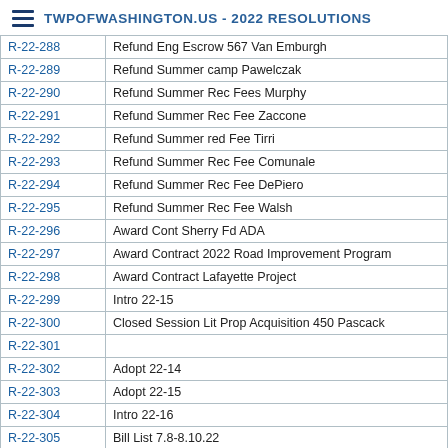TWPOFWASHINGTON.US - 2022 RESOLUTIONS
| Resolution | Description |
| --- | --- |
| R-22-288 | Refund Eng Escrow 567 Van Emburgh |
| R-22-289 | Refund Summer camp Pawelczak |
| R-22-290 | Refund Summer Rec Fees Murphy |
| R-22-291 | Refund Summer Rec Fee Zaccone |
| R-22-292 | Refund Summer red Fee Tirri |
| R-22-293 | Refund Summer Rec Fee Comunale |
| R-22-294 | Refund Summer Rec Fee DePiero |
| R-22-295 | Refund Summer Rec Fee Walsh |
| R-22-296 | Award Cont Sherry Fd ADA |
| R-22-297 | Award Contract 2022 Road Improvement Program |
| R-22-298 | Award Contract Lafayette Project |
| R-22-299 | Intro 22-15 |
| R-22-300 | Closed Session Lit Prop Acquisition 450 Pascack |
| R-22-301 |  |
| R-22-302 | Adopt 22-14 |
| R-22-303 | Adopt 22-15 |
| R-22-304 | Intro 22-16 |
| R-22-305 | Bill List 7.8-8.10.22 |
| R-22-306 | Corrective Action Plan |